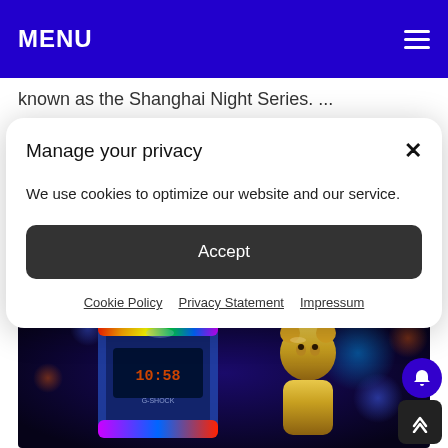MENU
known as the Shanghai Night Series. ...
[Continue Reading...]
Manage your privacy
We use cookies to optimize our website and our service.
Accept
Cookie Policy   Privacy Statement   Impressum
[Figure (photo): Photo of a colorful iridescent G-Shock watch next to a gold metallic Bearbrick figurine against a blurred bokeh background with colorful lights]